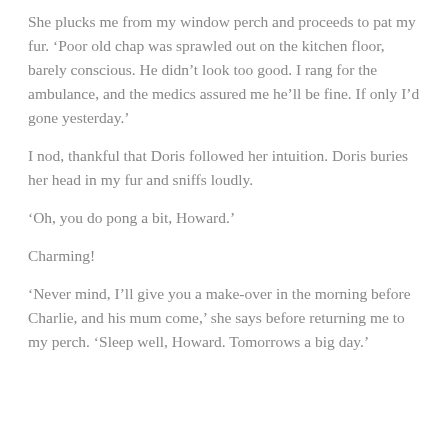She plucks me from my window perch and proceeds to pat my fur. ‘Poor old chap was sprawled out on the kitchen floor, barely conscious. He didn’t look too good. I rang for the ambulance, and the medics assured me he’ll be fine. If only I’d gone yesterday.’
I nod, thankful that Doris followed her intuition. Doris buries her head in my fur and sniffs loudly.
‘Oh, you do pong a bit, Howard.’
Charming!
‘Never mind, I’ll give you a make-over in the morning before Charlie, and his mum come,’ she says before returning me to my perch. ‘Sleep well, Howard. Tomorrows a big day.’